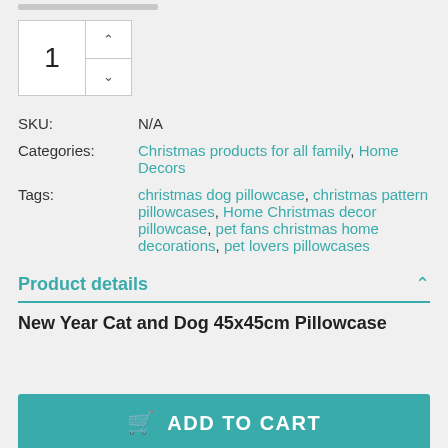[Figure (screenshot): Quantity spinner showing value 1 with up/down arrows]
SKU: N/A
Categories: Christmas products for all family, Home Decors
Tags: christmas dog pillowcase, christmas pattern pillowcases, Home Christmas decor pillowcase, pet fans christmas home decorations, pet lovers pillowcases
Product details
New Year Cat and Dog 45x45cm Pillowcase
ADD TO CART